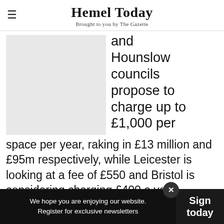Hemel Today — Brought to you by The Gazette
[Figure (photo): Gray placeholder image on the left side of the article]
and Hounslow councils propose to charge up to £1,000 per space per year, raking in £13 million and £95m respectively, while Leicester is looking at a fee of £550 and Bristol is considering charging £400 a year.
We hope you are enjoying our website. Register for exclusive newsletters   Sign today